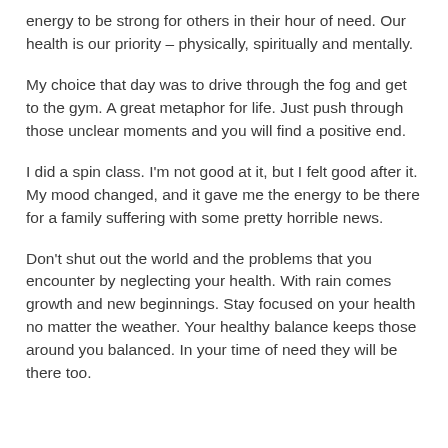energy to be strong for others in their hour of need. Our health is our priority – physically, spiritually and mentally.
My choice that day was to drive through the fog and get to the gym. A great metaphor for life. Just push through those unclear moments and you will find a positive end.
I did a spin class. I'm not good at it, but I felt good after it. My mood changed, and it gave me the energy to be there for a family suffering with some pretty horrible news.
Don't shut out the world and the problems that you encounter by neglecting your health. With rain comes growth and new beginnings. Stay focused on your health no matter the weather. Your healthy balance keeps those around you balanced. In your time of need they will be there too.